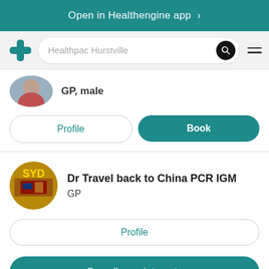Open in Healthengine app >
[Figure (screenshot): Healthengine app navigation bar with logo, search field showing 'Healthpac Hurstville', search button, and hamburger menu]
GP, male
Profile
Book
Dr Travel back to China PCR IGM
GP
Profile
See all appointments